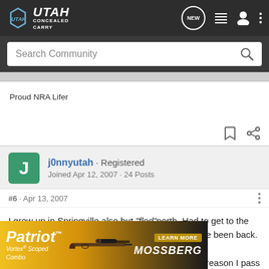UTAH CONCEALED CARRY
Search Community
Proud NRA Lifer
j0nnyutah · Registered
Joined Apr 12, 2007 · 24 Posts
#6 · Apr 13, 2007
I grew up in Springville also but "fled"north. Had to get to the "big" city. It has been quite a long time since I have been back. I have a few relatives left in Utah County. The only reason I pass through
[Figure (advertisement): Patriot Vortex Scoped Combo ad for Mossberg with rifle image]